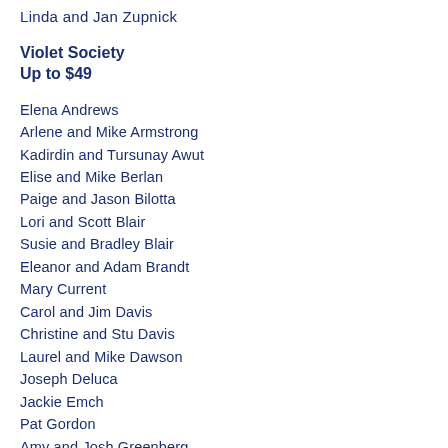Linda and Jan Zupnick
Violet Society
Up to $49
Elena Andrews
Arlene and Mike Armstrong
Kadirdin and Tursunay Awut
Elise and Mike Berlan
Paige and Jason Bilotta
Lori and Scott Blair
Susie and Bradley Blair
Eleanor and Adam Brandt
Mary Current
Carol and Jim Davis
Christine and Stu Davis
Laurel and Mike Dawson
Joseph Deluca
Jackie Emch
Pat Gordon
Amy and Josh Greenberg